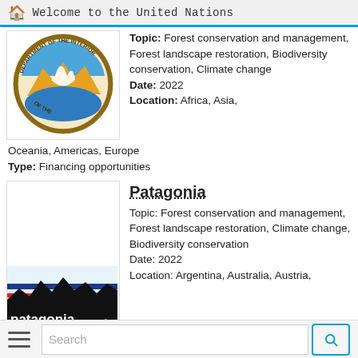Welcome to the United Nations
[Figure (logo): US Department of the Interior circular seal logo with eagle and fish]
Topic: Forest conservation and management, Forest landscape restoration, Biodiversity conservation, Climate change
Date: 2022
Location: Africa, Asia,
Oceania, Americas, Europe
Type: Financing opportunities
Patagonia
[Figure (logo): Patagonia brand logo with mountain silhouette and colorful bands]
Topic: Forest conservation and management, Forest landscape restoration, Climate change, Biodiversity conservation
Date: 2022
Location: Argentina, Australia, Austria,